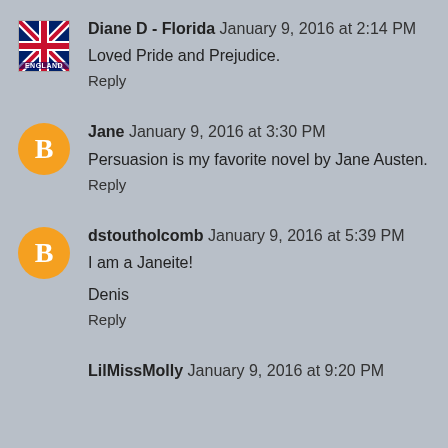Diane D - Florida  January 9, 2016 at 2:14 PM
Loved Pride and Prejudice.
Reply
Jane  January 9, 2016 at 3:30 PM
Persuasion is my favorite novel by Jane Austen.
Reply
dstoutholcomb  January 9, 2016 at 5:39 PM
I am a Janeite!

Denis
Reply
LilMissMolly  January 9, 2016 at 9:20 PM